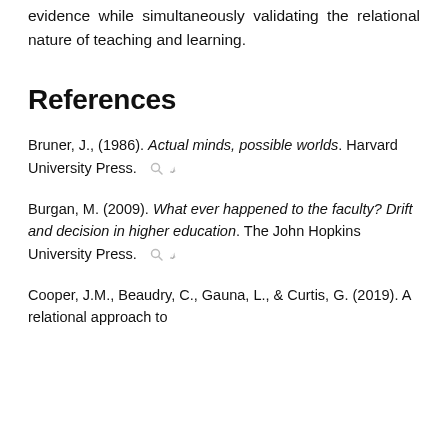evidence while simultaneously validating the relational nature of teaching and learning.
References
Bruner, J., (1986). Actual minds, possible worlds. Harvard University Press.
Burgan, M. (2009). What ever happened to the faculty? Drift and decision in higher education. The John Hopkins University Press.
Cooper, J.M., Beaudry, C., Gauna, L., & Curtis, G. (2019). A relational approach to